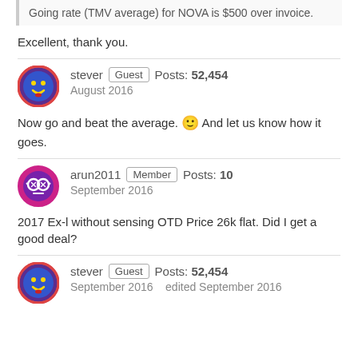Going rate (TMV average) for NOVA is $500 over invoice.
Excellent, thank you.
stever  Guest  Posts: 52,454  August 2016
Now go and beat the average. 🙂 And let us know how it goes.
arun2011  Member  Posts: 10  September 2016
2017 Ex-l without sensing OTD Price 26k flat. Did I get a good deal?
stever  Guest  Posts: 52,454  September 2016  edited September 2016